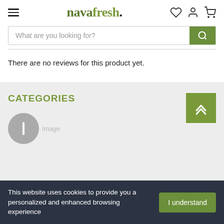navafresh.
What are you looking for?
There are no reviews for this product yet.
CATEGORIES
This website uses cookies to provide you a personalized and enhanced browsing experience